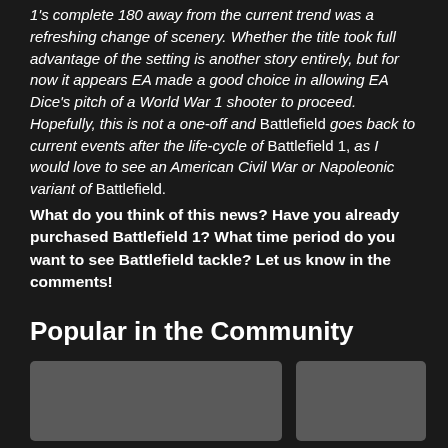1's complete 180 away from the current trend was a refreshing change of scenery. Whether the title took full advantage of the setting is another story entirely, but for now it appears EA made a good choice in allowing EA Dice's pitch of a World War 1 shooter to proceed. Hopefully, this is not a one-off and Battlefield goes back to current events after the life-cycle of Battlefield 1, as I would love to see an American Civil War or Napoleonic variant of Battlefield.
What do you think of this news? Have you already purchased Battlefield 1? What time period do you want to see Battlefield tackle? Let us know in the comments!
Popular in the Community
[Figure (photo): Two thumbnail images side by side representing community popular content cards]